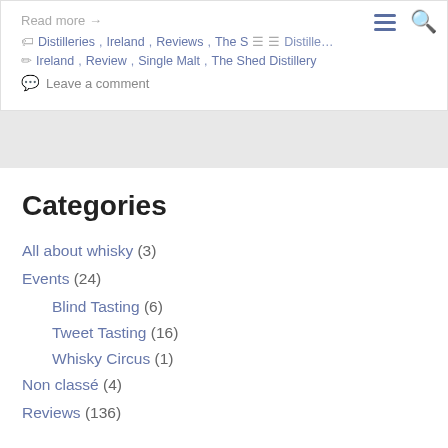Read more →
Distilleries, Ireland, Reviews, The Shed Distillery
Ireland, Review, Single Malt, The Shed Distillery
Leave a comment
Categories
All about whisky (3)
Events (24)
Blind Tasting (6)
Tweet Tasting (16)
Whisky Circus (1)
Non classé (4)
Reviews (136)